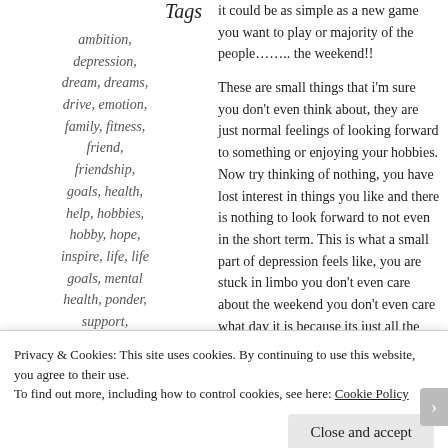Tags
ambition, depression, dream, dreams, drive, emotion, family, fitness, friend, friendship, goals, health, help, hobbies, hobby, hope, inspire, life, life goals, mental health, ponder, support,
it could be as simple as a new game you want to play or majority of the people…….. the weekend!!
These are small things that i'm sure you don't even think about, they are just normal feelings of looking forward to something or enjoying your hobbies. Now try thinking of nothing, you have lost interest in things you like and there is nothing to look forward to not even in the short term. This is what a small part of depression feels like, you are stuck in limbo you don't even care about the weekend you don't even care what day it is because its just all the same. You lose interest in all the hobbies you once loved and you cant see why you even liked them in the first place. This
Privacy & Cookies: This site uses cookies. By continuing to use this website, you agree to their use. To find out more, including how to control cookies, see here: Cookie Policy
Close and accept